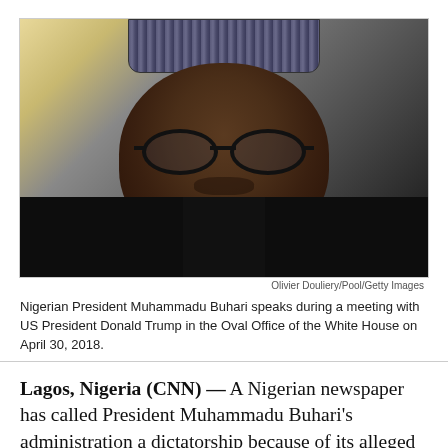[Figure (photo): Portrait photo of Nigerian President Muhammadu Buhari wearing a traditional patterned cap and dark jacket with white collar, speaking during a meeting]
Olivier Douliery/Pool/Getty Images
Nigerian President Muhammadu Buhari speaks during a meeting with US President Donald Trump in the Oval Office of the White House on April 30, 2018.
Lagos, Nigeria (CNN) — A Nigerian newspaper has called President Muhammadu Buhari's administration a dictatorship because of its alleged human rights violations and "disregard" for